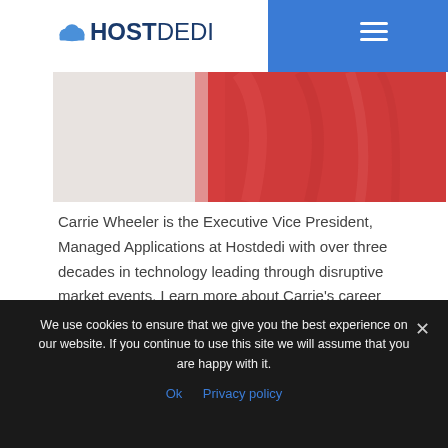HOSTDEDI
[Figure (photo): Partial photo showing a person in a red/coral jacket against a white background, cropped at top]
Carrie Wheeler is the Executive Vice President, Managed Applications at Hostdedi with over three decades in technology leading through disruptive market events.  Learn more about Carrie's career in tech here.
Source link
We use cookies to ensure that we give you the best experience on our website. If you continue to use this site we will assume that you are happy with it.
Ok   Privacy policy